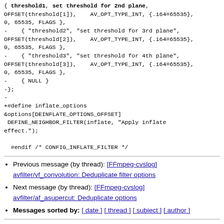{ threshold1, set threshold for 2nd plane, OFFSET(threshold[1]), AV_OPT_TYPE_INT, {.i64=65535}, 0, 65535, FLAGS },
-     { "threshold2", "set threshold for 3rd plane", OFFSET(threshold[2]),    AV_OPT_TYPE_INT, {.i64=65535}, 0, 65535, FLAGS },
-     { "threshold3", "set threshold for 4th plane", OFFSET(threshold[3]),    AV_OPT_TYPE_INT, {.i64=65535}, 0, 65535, FLAGS },
-     { NULL }
-};
-
+#define inflate_options &options[DEINFLATE_OPTIONS_OFFSET]
 DEFINE_NEIGHBOR_FILTER(inflate, "Apply inflate effect.");

  #endif /* CONFIG_INFLATE_FILTER */
Previous message (by thread): [FFmpeg-cvslog] avfilter/vf_convolution: Deduplicate filter options
Next message (by thread): [FFmpeg-cvslog] avfilter/af_asupercut: Deduplicate options
Messages sorted by: [ date ] [ thread ] [ subject ] [ author ]
More information about the ffmpeg-cvslog mailing list